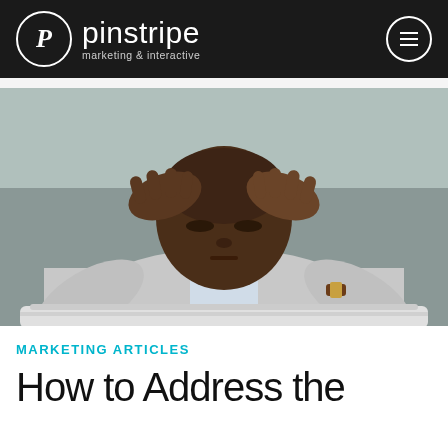pinstripe marketing & interactive
[Figure (photo): A stressed man in a grey suit sitting behind a laptop, holding his head in his hands with eyes closed, looking distressed.]
MARKETING ARTICLES
How to Address the